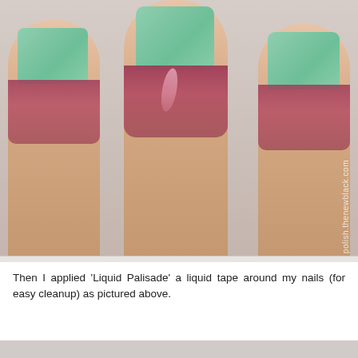[Figure (photo): Close-up photo of three fingers with mint green nail polish, each finger surrounded by pink/magenta 'Liquid Palisade' liquid tape applied around the nails. Watermark reads 'polish.thenewblack.com'.]
Then I applied 'Liquid Palisade' a liquid tape around my nails (for easy cleanup) as pictured above.